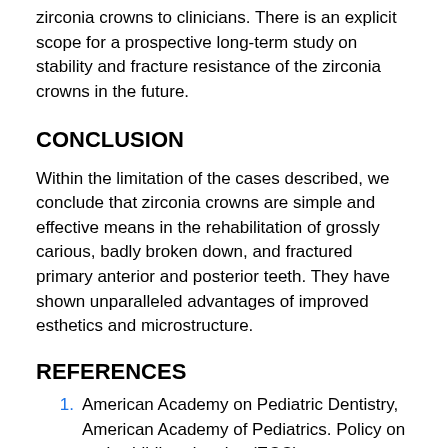zirconia crowns to clinicians. There is an explicit scope for a prospective long-term study on stability and fracture resistance of the zirconia crowns in the future.
CONCLUSION
Within the limitation of the cases described, we conclude that zirconia crowns are simple and effective means in the rehabilitation of grossly carious, badly broken down, and fractured primary anterior and posterior teeth. They have shown unparalleled advantages of improved esthetics and microstructure.
REFERENCES
American Academy on Pediatric Dentistry, American Academy of Pediatrics. Policy on early childhood caries (ECC): classifications, consequences, and preventive strategies. Pediatr Dent 2008; 2008 30 (7 Suppl): 40-43.